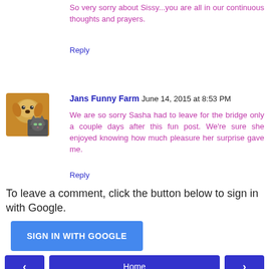So very sorry about Sissy...you are all in our continuous thoughts and prayers.
Reply
Jans Funny Farm  June 14, 2015 at 8:53 PM
We are so sorry Sasha had to leave for the bridge only a couple days after this fun post. We're sure she enjoyed knowing how much pleasure her surprise gave me.
Reply
To leave a comment, click the button below to sign in with Google.
SIGN IN WITH GOOGLE
Home
View web version